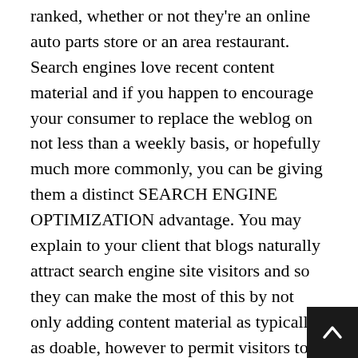ranked, whether or not they're an online auto parts store or an area restaurant. Search engines love recent content material and if you happen to encourage your consumer to replace the weblog on not less than a weekly basis, or hopefully much more commonly, you can be giving them a distinct SEARCH ENGINE OPTIMIZATION advantage. You may explain to your client that blogs naturally attract search engine site visitors and so they can make the most of this by not only adding content material as typically as doable, however to permit visitors to ask questions or go away feedback.
Testimonials are a way for earlier purchasers to tell potential shoppers concerning the fantastic experience they've had with an company. They arrive immediately from actual shoppers who've worked with an SEARCH ENGINE MARKETING administration firm earlier than and so they act as votes of confidence for the comp